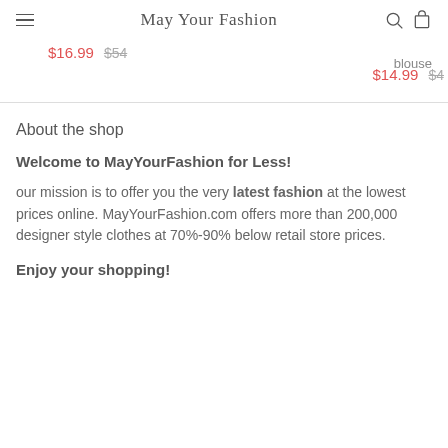May Your Fashion
blouse
$16.99  $54
$14.99  $4
About the shop
Welcome to MayYourFashion for Less!
our mission is to offer you the very latest fashion at the lowest prices online. MayYourFashion.com offers more than 200,000 designer style clothes at 70%-90% below retail store prices.
Enjoy your shopping!